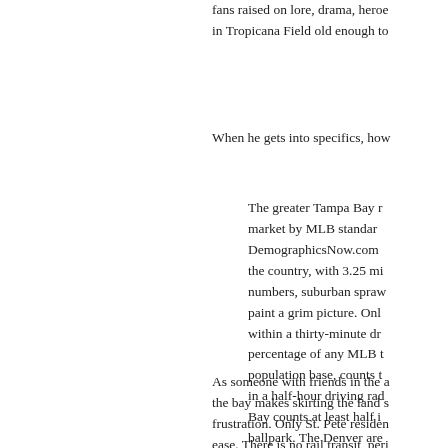fans raised on lore, drama, heroes in Tropicana Field old enough to
When he gets into specifics, how
The greater Tampa Bay market by MLB standards DemographicsNow.com the country, with 3.25 mi numbers, suburban spra paint a grim picture. Only within a thirty-minute dr percentage of any MLB population base, counts in a half-hour driving rad Bay counts at least half ballpark. The Denver are than Tampa Bay, yet mo the thirty-minute-or-less 600,000 in Tampa-St. Pe
As someone with friends in the a the bay makes skirting the land s frustration. Only St. Pete residen ease. There is no rail transit, peri